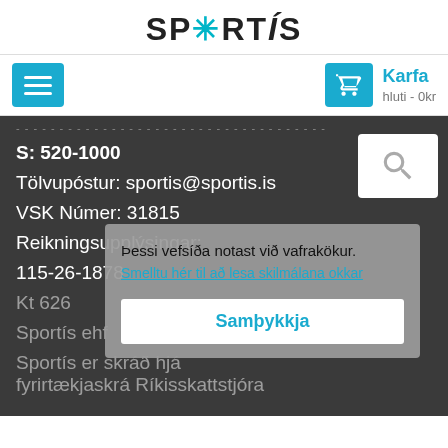[Figure (logo): Sportís logo with asterisk/star icon replacing the 'O' in SPORTÍS, black text, cyan star]
Menu button | Karfa hluti - 0kr
S: 520-1000
Tölvupóstur: sportis@sportis.is
VSK Númer: 31815
Reikningsupplýsingar:
115-26-1878
Kt 626...
Sportís ehf
Sportís er skráð hjá fyrirtækjaskrá Ríkisskattstjóra
Þessi vefsíða notast við vafrakökur. Smelltu hér til að lesa skilmálana okkar
Samþykkja